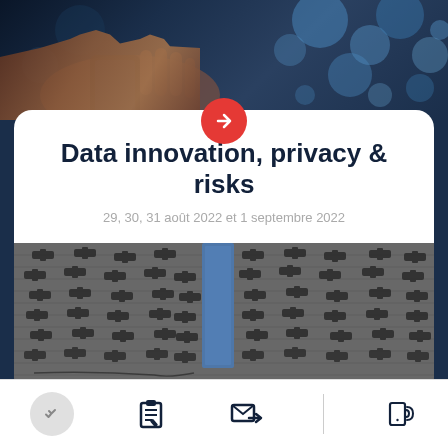[Figure (photo): Top photo strip showing hands holding a mobile phone with bokeh blue lights in background on dark navy blue background, with a red circular arrow button at the bottom center.]
Data innovation, privacy & risks
29, 30, 31 août 2022 et 1 septembre 2022
[Figure (photo): Photo of a building wall covered with numerous surveillance security cameras arranged in rows, with a blue vertical glass panel in the center.]
[Figure (screenshot): Bottom navigation bar with four icons: a grey circle with check marks (active state), a clipboard with pen icon, an email/forward icon, and a phone with signal waves icon.]